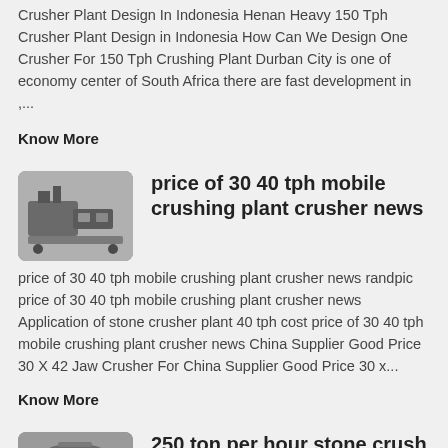Crusher Plant Design In Indonesia Henan Heavy 150 Tph Crusher Plant Design in Indonesia How Can We Design One Crusher For 150 Tph Crushing Plant Durban City is one of economy center of South Africa there are fast development in ,...
Know More
[Figure (photo): Industrial crushing machine equipment photo thumbnail]
price of 30 40 tph mobile crushing plant crusher news
price of 30 40 tph mobile crushing plant crusher news randpic price of 30 40 tph mobile crushing plant crusher news Application of stone crusher plant 40 tph cost price of 30 40 tph mobile crushing plant crusher news China Supplier Good Price 30 X 42 Jaw Crusher For China Supplier Good Price 30 x...
Know More
[Figure (photo): Stone crusher equipment photo thumbnail]
250 ton per hour stone crush line